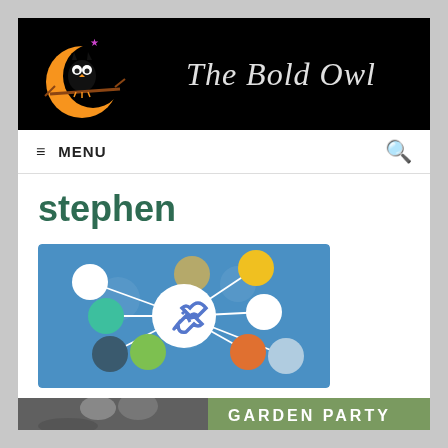[Figure (logo): The Bold Owl website banner with black background, owl silhouette on moon logo on left, and cursive text 'The Bold Owl' on right in light gray italic font]
≡ MENU
stephen
[Figure (illustration): Network/link graphic on blue background showing colored circles connected by white lines to a central white circle with a chain-link icon. Circles in white, teal, dark blue, green, olive, yellow, white, orange, and light blue.]
[Figure (photo): Partial view of a photo strip at the bottom showing people and text 'GARDEN PARTY' on the right side]